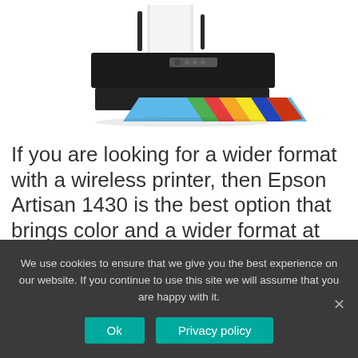[Figure (photo): A black Epson Artisan 1430 wide-format inkjet printer with paper loaded in the rear tray and a colorful printed photo partially ejected from the front output tray.]
If you are looking for a wider format with a wireless printer, then Epson Artisan 1430 is the best option that brings color and a wider format at the same time. It gives brilliant
We use cookies to ensure that we give you the best experience on our website. If you continue to use this site we will assume that you are happy with it.